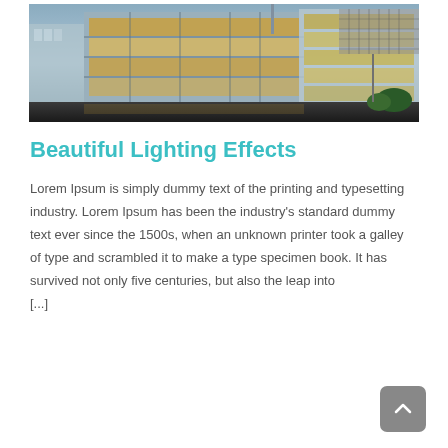[Figure (photo): Photograph of a modern glass office building at dusk with illuminated interior lighting visible through large glass facades, blue-grey sky in background]
Beautiful Lighting Effects
Lorem Ipsum is simply dummy text of the printing and typesetting industry. Lorem Ipsum has been the industry's standard dummy text ever since the 1500s, when an unknown printer took a galley of type and scrambled it to make a type specimen book. It has survived not only five centuries, but also the leap into [...]